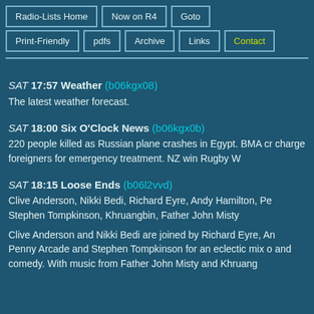Radio-Lists Home
Now on R4
Goto
Print-Friendly
pdfs
Archive
Links
Contact
SAT 17:57 Weather (b06kgx08)
The latest weather forecast.
SAT 18:00 Six O'Clock News (b06kgx0b)
220 people killed as Russian plane crashes in Egypt. BMA cr charge foreigners for emergency treatment. NZ win Rugby W
SAT 18:15 Loose Ends (b06l2vvd)
Clive Anderson, Nikki Bedi, Richard Eyre, Andy Hamilton, Pe Stephen Tompkinson, Khruangbin, Father John Misty

Clive Anderson and Nikki Bedi are joined by Richard Eyre, An Penny Arcade and Stephen Tompkinson for an eclectic mix o and comedy. With music from Father John Misty and Khruang